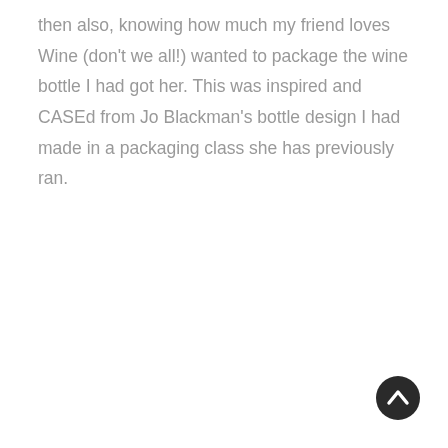then also, knowing how much my friend loves Wine (don't we all!) wanted to package the wine bottle I had got her. This was inspired and CASEd from Jo Blackman's bottle design I had made in a packaging class she has previously ran.
[Figure (other): A circular dark button with an upward-pointing chevron/arrow icon, used as a back-to-top navigation button.]